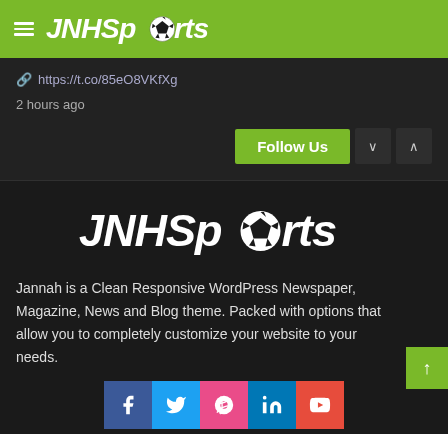JNHSports
🔗 https://t.co/85eO8VKfXg
2 hours ago
[Figure (logo): JNHSports logo in white on dark background, large centered version]
Jannah is a Clean Responsive WordPress Newspaper, Magazine, News and Blog theme. Packed with options that allow you to completely customize your website to your needs.